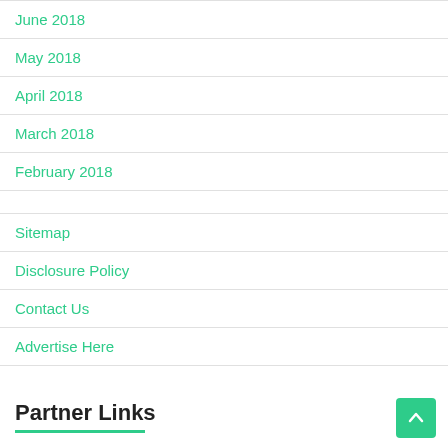June 2018
May 2018
April 2018
March 2018
February 2018
Sitemap
Disclosure Policy
Contact Us
Advertise Here
Partner Links